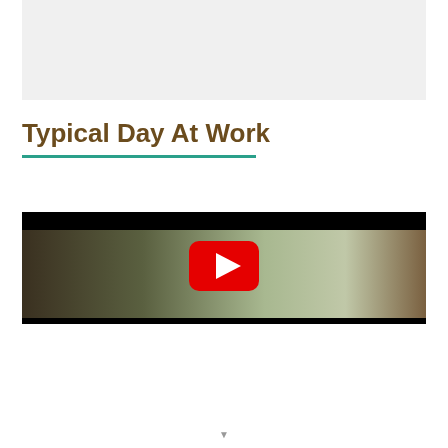[Figure (other): Gray placeholder/banner box at top of page]
Typical Day At Work
[Figure (screenshot): YouTube video thumbnail showing a person working outdoors near wooden structures and greenery, with a red YouTube play button in the center]